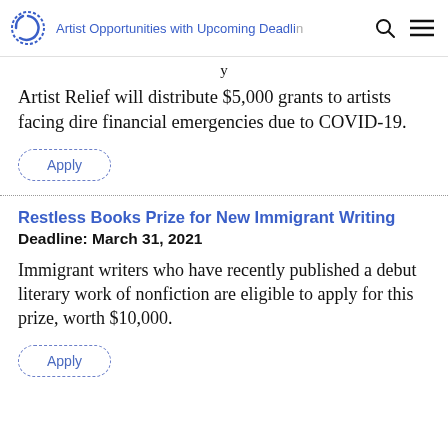Artist Opportunities with Upcoming Deadlines
Artist Relief will distribute $5,000 grants to artists facing dire financial emergencies due to COVID-19.
Apply
Restless Books Prize for New Immigrant Writing
Deadline: March 31, 2021
Immigrant writers who have recently published a debut literary work of nonfiction are eligible to apply for this prize, worth $10,000.
Apply